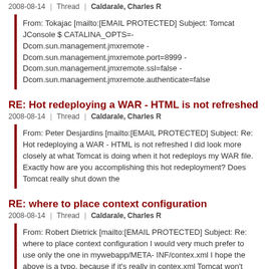2008-08-14 | Thread | Caldarale, Charles R
From: Tokajac [mailto:[EMAIL PROTECTED] Subject: Tomcat JConsole $ CATALINA_OPTS=- Dcom.sun.management.jmxremote - Dcom.sun.management.jmxremote.port=8999 - Dcom.sun.management.jmxremote.ssl=false - Dcom.sun.management.jmxremote.authenticate=false
RE: Hot redeploying a WAR - HTML is not refreshed
2008-08-14 | Thread | Caldarale, Charles R
From: Peter Desjardins [mailto:[EMAIL PROTECTED] Subject: Re: Hot redeploying a WAR - HTML is not refreshed I did look more closely at what Tomcat is doing when it hot redeploys my WAR file. Exactly how are you accomplishing this hot redeployment? Does Tomcat really shut down the
RE: where to place context configuration
2008-08-14 | Thread | Caldarale, Charles R
From: Robert Dietrick [mailto:[EMAIL PROTECTED] Subject: Re: where to place context configuration I would very much prefer to use only the one in mywebapp/META-INF/contex.xml I hope the above is a typo, because if it's really in contex.xml Tomcat won't look at it. But this doesn't